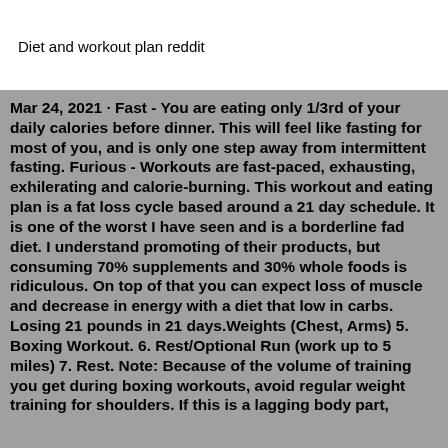Diet and workout plan reddit
Mar 24, 2021 · Fast - You are eating only 1/3rd of your daily calories before dinner. This will feel like fasting for most of you, and is only one step away from intermittent fasting. Furious - Workouts are fast-paced, exhausting, exhilerating and calorie-burning. This workout and eating plan is a fat loss cycle based around a 21 day schedule. It is one of the worst I have seen and is a borderline fad diet. I understand promoting of their products, but consuming 70% supplements and 30% whole foods is ridiculous. On top of that you can expect loss of muscle and decrease in energy with a diet that low in carbs. Losing 21 pounds in 21 days.Weights (Chest, Arms) 5. Boxing Workout. 6. Rest/Optional Run (work up to 5 miles) 7. Rest. Note: Because of the volume of training you get during boxing workouts, avoid regular weight training for shoulders. If this is a lagging body part,